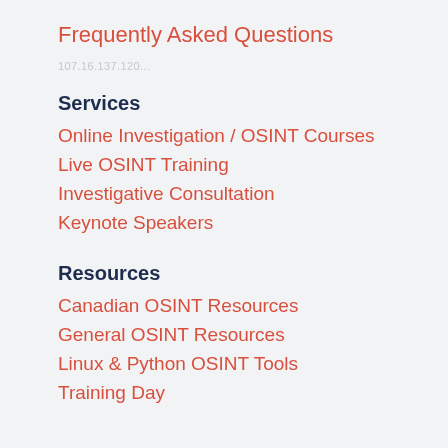Frequently Asked Questions
107.16.137.120...
Services
Online Investigation / OSINT Courses
Live OSINT Training
Investigative Consultation
Keynote Speakers
Resources
Canadian OSINT Resources
General OSINT Resources
Linux & Python OSINT Tools
Training Day